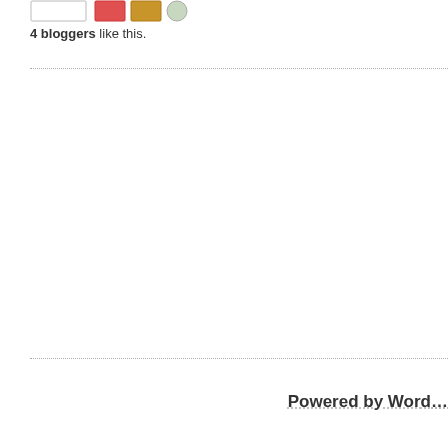[Figure (other): Row of small avatar/thumbnail images: a light gray box outline, a pink/red rectangle, an orange/golden rectangle, and a small circular avatar]
4 bloggers like this.
Powered by Word…